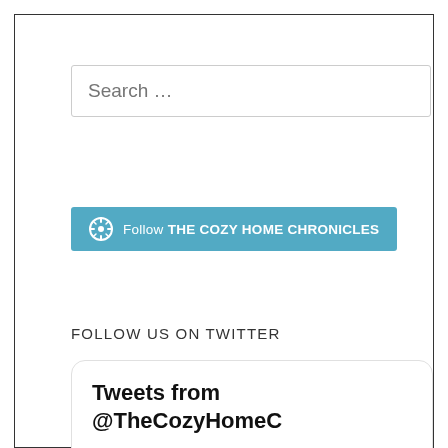[Figure (screenshot): Search input box with placeholder text 'Search ...']
[Figure (screenshot): Blue WordPress Follow button with WordPress logo icon and text 'Follow THE COZY HOME CHRONICLES']
FOLLOW US ON TWITTER
[Figure (screenshot): Twitter widget showing 'Tweets from @TheCozyHomeC' header and a tweet section showing 'The Cozy Home Retweeted' with retweet icon]